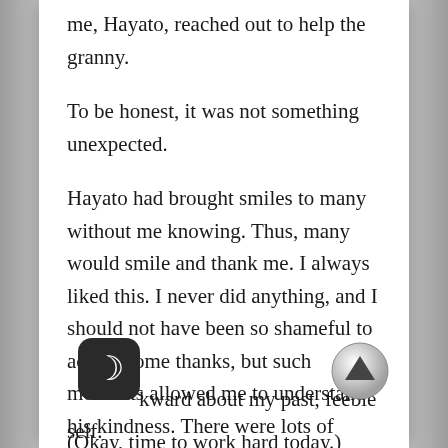me, Hayato, reached out to help the granny.
To be honest, it was not something unexpected.
Hayato had brought smiles to many without me knowing. Thus, many would smile and thank me. I always liked this. I never did anything, and I should not have been so shameful to accept some thanks, but such moments allowed me to understand his kindness. There were lots of heartwarming interludes. Ultimately, it was after I was able to walk that I realized how wonderful these events were. I was once so dejected that I never realized this, and felt awkward about my past, feeble self.
(Okay, time to work hard today.)